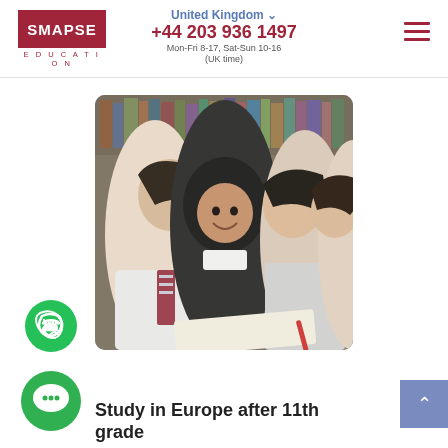SMAPSE EDUCATION | United Kingdom | +44 203 936 1497 | Mon-Fri 8-17, Sat-Sun 10-16 (UK time)
[Figure (photo): Group of students studying together in a library setting — two young men and two young women, one wearing a hijab, looking at books and smiling]
[Figure (logo): WhatsApp green circle button icon]
[Figure (logo): Green chat bubble circle button icon]
[Figure (illustration): Scroll-up arrow button in blue-grey square]
Study in Europe after 11th grade for foreigners